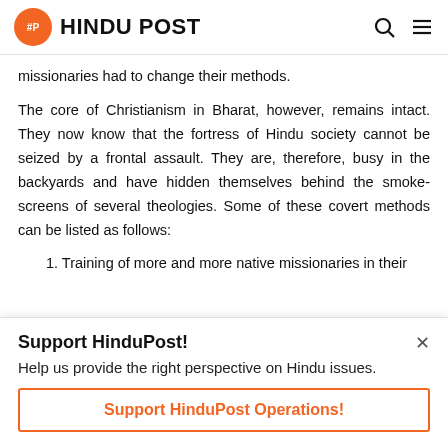HINDU POST
missionaries had to change their methods.
The core of Christianism in Bharat, however, remains intact. They now know that the fortress of Hindu society cannot be seized by a frontal assault. They are, therefore, busy in the backyards and have hidden themselves behind the smoke-screens of several theologies. Some of these covert methods can be listed as follows:
1. Training of more and more native missionaries in their
Support HinduPost!
Help us provide the right perspective on Hindu issues.
Support HinduPost Operations!